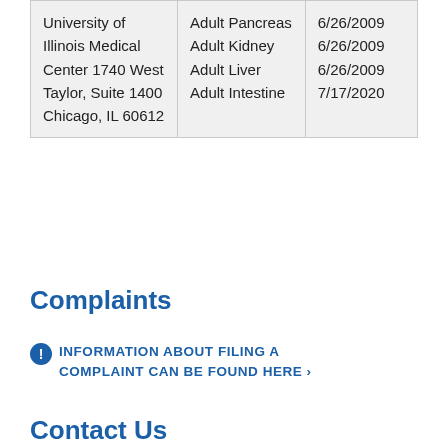| University of Illinois Medical Center 1740 West Taylor, Suite 1400 Chicago, IL 60612 | Adult Pancreas Adult Kidney Adult Liver Adult Intestine | 6/26/2009 6/26/2009 6/26/2009 7/17/2020 |
Complaints
INFORMATION ABOUT FILING A COMPLAINT CAN BE FOUND HERE ›
Contact Us